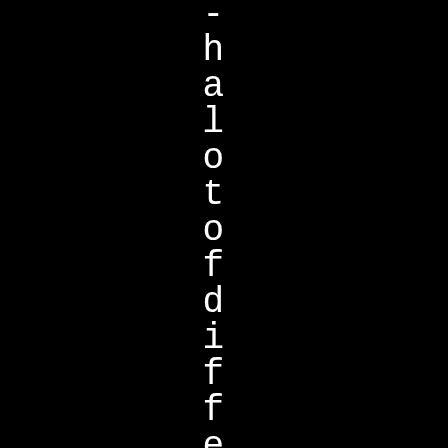[Figure (photo): Black background image with white text running vertically, spelling out characters of the phrase 'halo to f different bands in al' displayed one character per line in a monospace font]